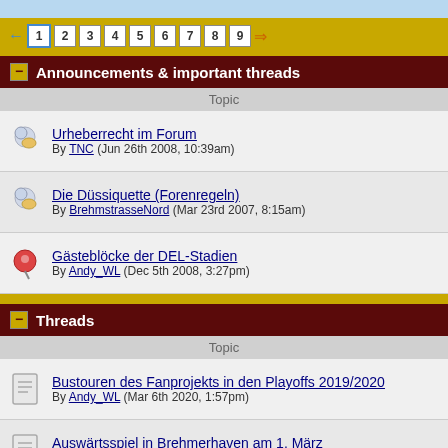← 1 2 3 4 5 6 7 8 9 →
Announcements & important threads
| Topic |
| --- |
| Urheberrecht im Forum
By TNC (Jun 26th 2008, 10:39am) |
| Die Düssiquette (Forenregeln)
By BrehmstrasseNord (Mar 23rd 2007, 8:15am) |
| Gästeblöcke der DEL-Stadien
By Andy_WL (Dec 5th 2008, 3:27pm) |
Threads
| Topic |
| --- |
| Bustouren des Fanprojekts in den Playoffs 2019/2020
By Andy_WL (Mar 6th 2020, 1:57pm) |
| Auswärtsspiel in Brehmerhaven am 1. März
By DEGFrank (Jan 19th 2020, 6:57pm) |
| Fahrten mit dem SBR
By Eiskristall (Oct 11th 2008, 10:00pm) |
| Biete Mitfahrgelegenheit am 22.01.15 zum Berlin Spiel von Marl aus a... Gebiet)
By rot gelber Pütt (Jan 20th 2016, 12:00am) |